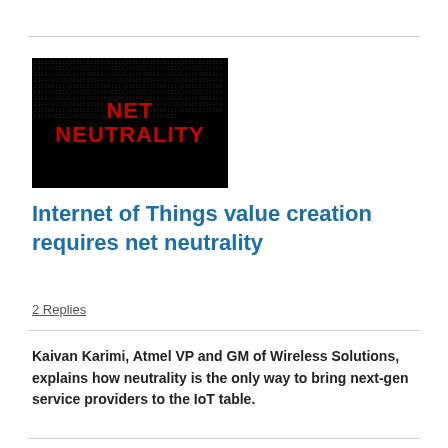[Figure (photo): Black image with binary code background and red bold text reading 'NET NEUTRALITY' in the center]
Internet of Things value creation requires net neutrality
2 Replies
Kaivan Karimi, Atmel VP and GM of Wireless Solutions, explains how neutrality is the only way to bring next-gen service providers to the IoT table.